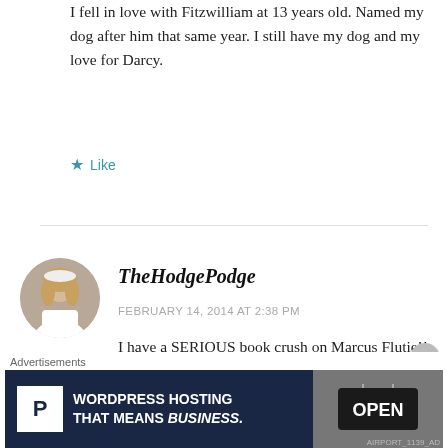I fell in love with Fitzwilliam at 13 years old. Named my dog after him that same year. I still have my dog and my love for Darcy.
Like
TheHodgePodge
FEBRUARY 14, 2014 AT 2:38 PM
I have a SERIOUS book crush on Marcus Flutie!!
Like
[Figure (photo): Round avatar photo of a woman in a white dress, likely a wedding photo]
Advertisements
[Figure (screenshot): Advertisement banner: WordPress hosting that means business, with parking sign logo and open sign photo]